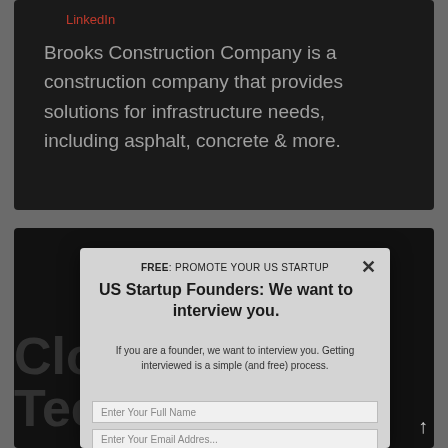LinkedIn
Brooks Construction Company is a construction company that provides solutions for infrastructure needs, including asphalt, concrete & more.
[Figure (screenshot): Modal popup dialog with FREE: PROMOTE YOUR US STARTUP header, title 'US Startup Founders: We want to interview you.', body text about interviewing founders, and two input fields for Full Name and Email Address. A close X button is in the top right.]
Cloudquest Technologies (watermark)